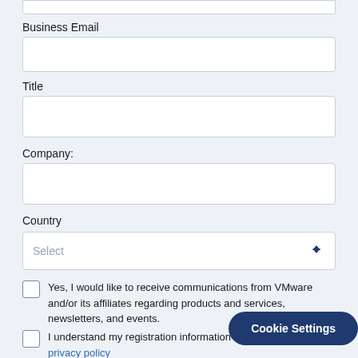Business Email
Title
Company:
Country
Select
Yes, I would like to receive communications from VMware and/or its affiliates regarding products and services, newsletters, and events.
I understand my registration information will be subject to the privacy policy
Cookie Settings